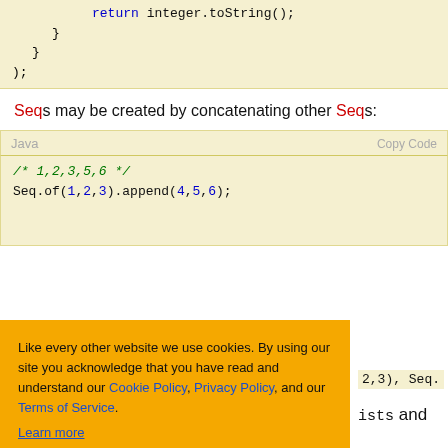[Figure (screenshot): Code block showing return integer.toString(); with closing braces and );]
Seqs may be created by concatenating other Seqs:
[Figure (screenshot): Java code block with comment /* 1,2,3,5,6 */ and Seq.of(1,2,3).append(4,5,6);]
Like every other website we use cookies. By using our site you acknowledge that you have read and understand our Cookie Policy, Privacy Policy, and our Terms of Service. Learn more
...2,3), Seq.
...ists and
...Arrays functional data structures typically use a